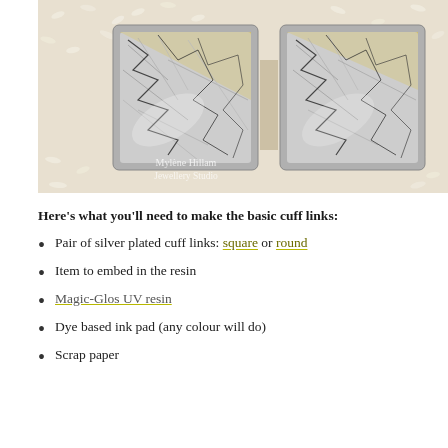[Figure (photo): Close-up photo of two square silver plated cuff links placed on a bed of white rice. The cuff links contain crinkled silver and gold foil embedded in resin. A watermark reads 'Mylène Hillam Jewellery Studio'.]
Here's what you'll need to make the basic cuff links:
Pair of silver plated cuff links: square or round
Item to embed in the resin
Magic-Glos UV resin
Dye based ink pad (any colour will do)
Scrap paper